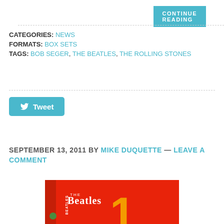CONTINUE READING
CATEGORIES: NEWS
FORMATS: BOX SETS
TAGS: BOB SEGER, THE BEATLES, THE ROLLING STONES
[Figure (other): Tweet button with Twitter bird icon]
SEPTEMBER 13, 2011 BY MIKE DUQUETTE — LEAVE A COMMENT
[Figure (photo): The Beatles '1' album cover — red background with large golden/yellow stylized number 1, The Beatles logo and Apple Records branding]